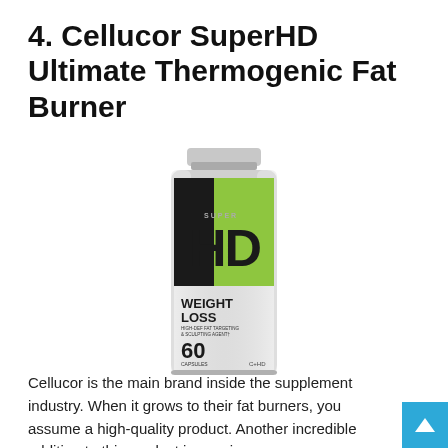4. Cellucor SuperHD Ultimate Thermogenic Fat Burner
[Figure (photo): Cellucor SuperHD Weight Loss supplement bottle, 60 capsules, dietary supplement with green and silver label]
Cellucor is the main brand inside the supplement industry. When it grows to their fat burners, you assume a high-quality product. Another incredible addition to this product is capsimax